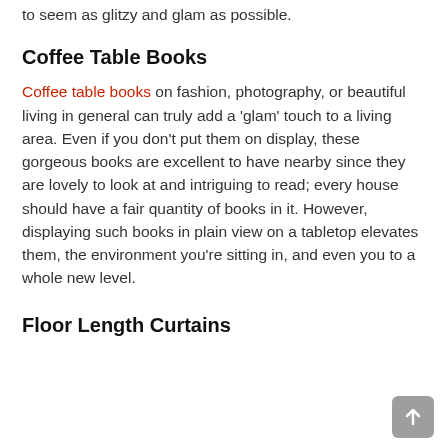to seem as glitzy and glam as possible.
Coffee Table Books
Coffee table books on fashion, photography, or beautiful living in general can truly add a ‘glam’ touch to a living area. Even if you don’t put them on display, these gorgeous books are excellent to have nearby since they are lovely to look at and intriguing to read; every house should have a fair quantity of books in it. However, displaying such books in plain view on a tabletop elevates them, the environment you’re sitting in, and even you to a whole new level.
Floor Length Curtains